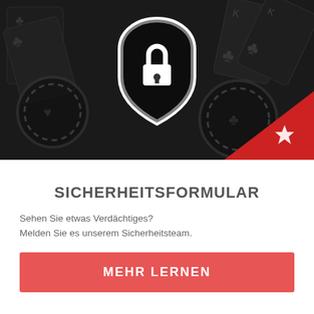[Figure (photo): Dark background image showing playing cards and casino chips with a white shield/padlock security icon overlay and a red triangle with a star logo in the bottom-right corner]
SICHERHEITSFORMULAR
Sehen Sie etwas Verdächtiges?
Melden Sie es unserem Sicherheitsteam.
MEHR LERNEN